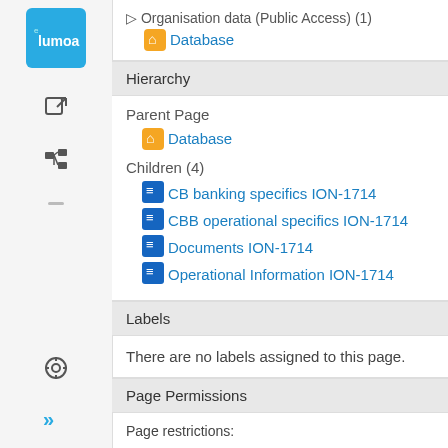[Figure (logo): Lumoa/Lumda logo in blue rounded square]
[Figure (other): External link icon]
[Figure (other): Hierarchy tree icon]
Organisation data (Public Access) (1)
Database (home icon link)
Hierarchy
Parent Page
Database (home icon link)
Children (4)
CB banking specifics ION-1714
CBB operational specifics ION-1714
Documents ION-1714
Operational Information ION-1714
Labels
There are no labels assigned to this page.
Page Permissions
Page restrictions:
Only users in group administrators can edit this pa…